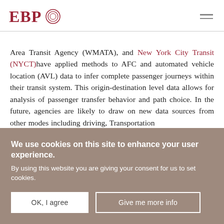EBP [logo with circle icon] [hamburger menu]
Area Transit Agency (WMATA), and New York City Transit (NYCT)have applied methods to AFC and automated vehicle location (AVL) data to infer complete passenger journeys within their transit system. This origin-destination level data allows for analysis of passenger transfer behavior and path choice. In the future, agencies are likely to draw on new data sources from other modes including driving, Transportation
We use cookies on this site to enhance your user experience. By using this website you are giving your consent for us to set cookies.
OK, I agree | Give me more info